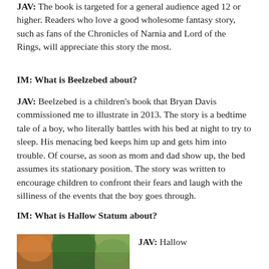JAV: The book is targeted for a general audience aged 12 or higher. Readers who love a good wholesome fantasy story, such as fans of the Chronicles of Narnia and Lord of the Rings, will appreciate this story the most.
IM: What is Beelzebed about?
JAV: Beelzebed is a children’s book that Bryan Davis commissioned me to illustrate in 2013. The story is a bedtime tale of a boy, who literally battles with his bed at night to try to sleep. His menacing bed keeps him up and gets him into trouble. Of course, as soon as mom and dad show up, the bed assumes its stationary position. The story was written to encourage children to confront their fears and laugh with the silliness of the events that the boy goes through.
IM: What is Hallow Statum about?
[Figure (photo): A partial photo showing colorful illustrated artwork, appears to be a children's book illustration with green and orange tones.]
JAV: Hallow